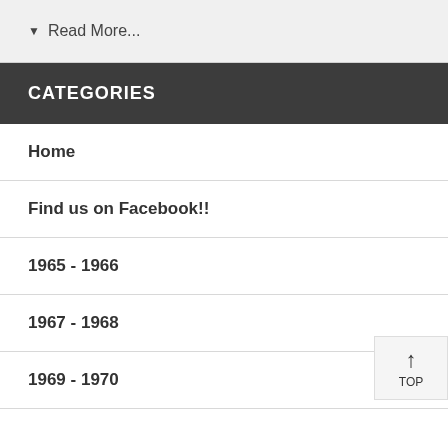▼ Read More...
CATEGORIES
Home
Find us on Facebook!!
1965 - 1966
1967 - 1968
1969 - 1970